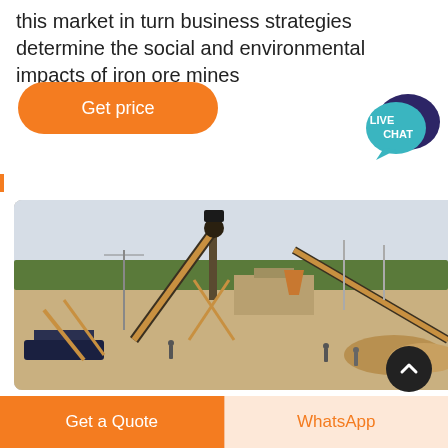this market in turn business strategies determine the social and environmental impacts of iron ore mines
[Figure (other): Orange rounded button labeled 'Get price']
[Figure (other): Live Chat speech bubble icon in teal and dark purple]
[Figure (photo): Aerial view of an iron ore mining and processing site with conveyor belts, machinery, structures, and workers visible]
[Figure (other): Dark circular scroll-to-top button with upward chevron arrow]
[Figure (other): Bottom navigation bar with 'Get a Quote' orange button and 'WhatsApp' light orange button]